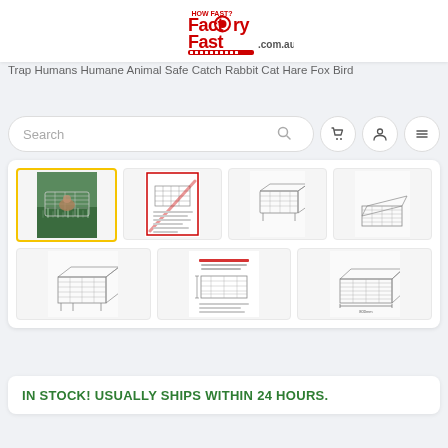[Figure (logo): FactoryFast.com.au logo with red text and tagline 'HOW FAST?']
Trap Humans Humane Animal Safe Catch Rabbit Cat Hare Fox Bird
[Figure (screenshot): Search bar with magnifying glass icon and navigation icons (cart, user, menu)]
[Figure (photo): Product image gallery showing 7 thumbnail images of wire animal traps/cages. First thumbnail shows a cat in a green grass setting inside a trap (selected with yellow border). Other thumbnails show technical diagrams and wireframe views of the cage trap from various angles.]
IN STOCK! USUALLY SHIPS WITHIN 24 HOURS.